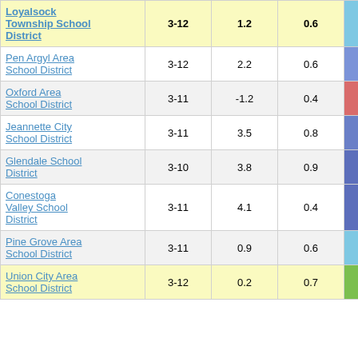| District | Grades | Col3 | Col4 | Score |
| --- | --- | --- | --- | --- |
| Loyalsock Township School District | 3-12 | 1.2 | 0.6 | 1.96 |
| Pen Argyl Area School District | 3-12 | 2.2 | 0.6 | 3.36 |
| Oxford Area School District | 3-11 | -1.2 | 0.4 | -2.58 |
| Jeannette City School District | 3-11 | 3.5 | 0.8 | 4.26 |
| Glendale School District | 3-10 | 3.8 | 0.9 | 4.33 |
| Conestoga Valley School District | 3-11 | 4.1 | 0.4 | 10.35 |
| Pine Grove Area School District | 3-11 | 0.9 | 0.6 | 1.50 |
| Union City Area School District | 3-12 | 0.2 | 0.7 | 0.30 |